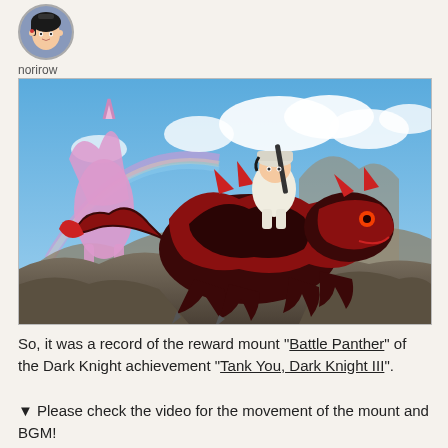[Figure (illustration): Circular avatar icon showing an anime-style character with dark hair and accessories]
norirow
[Figure (screenshot): Game screenshot from Final Fantasy XIV showing a character riding a large red and black Battle Panther mount, with a blue sky, clouds, rocks, and a rainbow in the background]
So, it was a record of the reward mount "Battle Panther" of the Dark Knight achievement "Tank You, Dark Knight III".
▼ Please check the video for the movement of the mount and BGM!